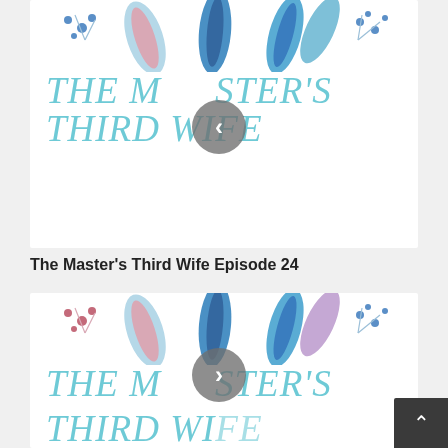[Figure (illustration): Book cover card for 'The Master's Third Wife' with decorative watercolor feathers and berries at top, italic teal cursive title text, and a left-arrow navigation circle button overlaid in the center]
The Master's Third Wife Episode 24
[Figure (illustration): Partial second book cover card for 'The Master's Third Wife' with decorative watercolor feathers and berries at top, italic teal cursive title text partially visible, and a right-arrow navigation circle button overlaid in the center]